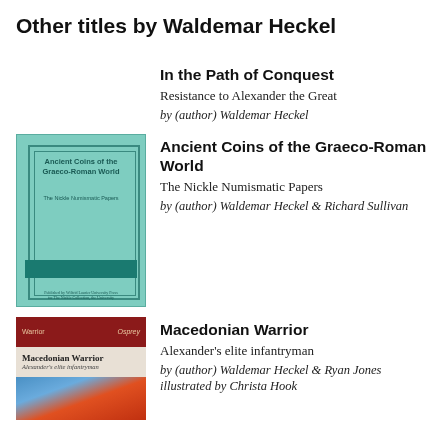Other titles by Waldemar Heckel
[Figure (illustration): Book listing entry 1: In the Path of Conquest, no cover shown]
In the Path of Conquest
Resistance to Alexander the Great
by (author) Waldemar Heckel
[Figure (illustration): Book cover: Ancient Coins of the Graeco-Roman World, mint green cover with decorative border]
Ancient Coins of the Graeco-Roman World
The Nickle Numismatic Papers
by (author) Waldemar Heckel & Richard Sullivan
[Figure (illustration): Book cover: Macedonian Warrior, dark red top bar with title area and warrior illustration]
Macedonian Warrior
Alexander's elite infantryman
by (author) Waldemar Heckel & Ryan Jones illustrated by Christa Hook